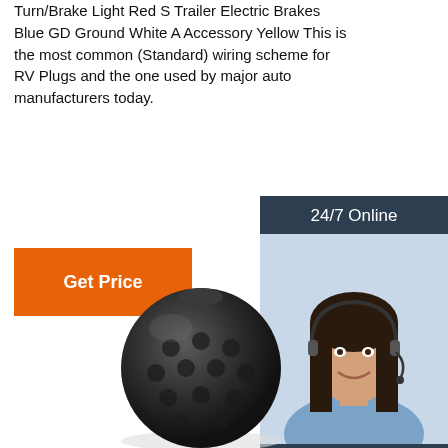Turn/Brake Light Red S Trailer Electric Brakes Blue GD Ground White A Accessory Yellow This is the most common (Standard) wiring scheme for RV Plugs and the one used by major auto manufacturers today.
[Figure (other): Orange 'Get Price' button]
[Figure (other): 24/7 Online chat widget advertisement with customer service representative photo, 'Click here for free chat!' text, and an orange QUOTATION button]
[Figure (photo): Black rubber tow ball cover with dimpled texture, photographed on white background]